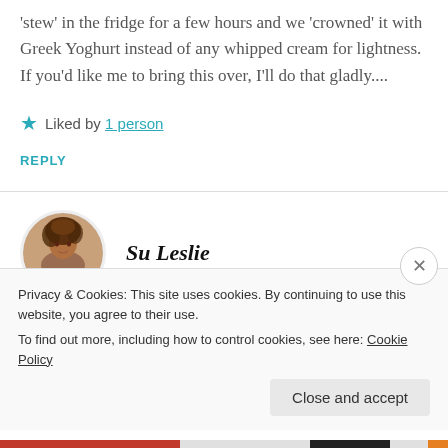'stew' in the fridge for a few hours and we 'crowned' it with Greek Yoghurt instead of any whipped cream for lightness. If you'd like me to bring this over, I'll do that gladly....
Liked by 1 person
REPLY
Su Leslie
Privacy & Cookies: This site uses cookies. By continuing to use this website, you agree to their use.
To find out more, including how to control cookies, see here: Cookie Policy
Close and accept